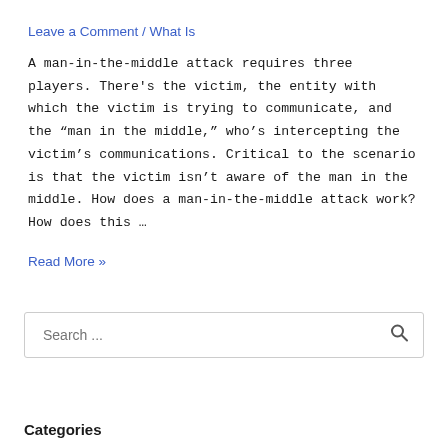Leave a Comment / What Is
A man-in-the-middle attack requires three players. There’s the victim, the entity with which the victim is trying to communicate, and the “man in the middle,” who’s intercepting the victim’s communications. Critical to the scenario is that the victim isn’t aware of the man in the middle. How does a man-in-the-middle attack work? How does this …
Read More »
Search ...
Categories